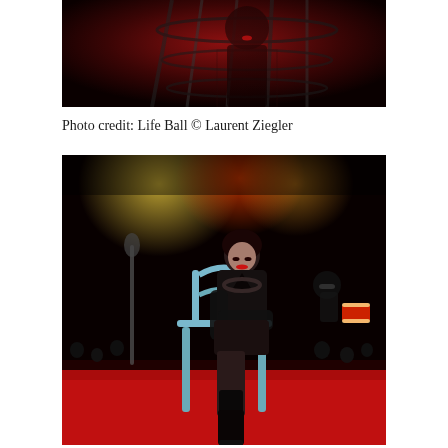[Figure (photo): Dark performance photo showing a person in a cage-like structure with red lighting, wearing fishnet and dark clothing, with red lipstick visible]
Photo credit: Life Ball © Laurent Ziegler
[Figure (photo): Performance photo on a red stage floor showing a woman in black outfit with gloves seated on a light blue chair, wearing fishnet stockings and black high boots, with performers and audience visible in the dark background]